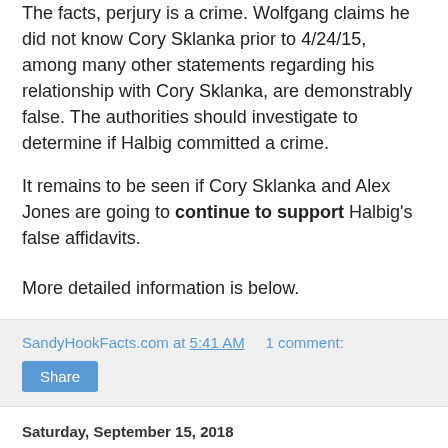The facts, perjury is a crime.  Wolfgang claims he did not know Cory Sklanka prior to 4/24/15, among many other statements regarding his relationship with Cory Sklanka, are demonstrably false.  The authorities should investigate to determine if Halbig committed a crime.
It remains to be seen if Cory Sklanka and Alex Jones are going to continue to support Halbig’s false affidavits.
More detailed information is below.
SandyHookFacts.com at 5:41 AM    1 comment:
Saturday, September 15, 2018
Wolfgang Halbig and Cory Sklanka are desperate to get out of Sandy Hook